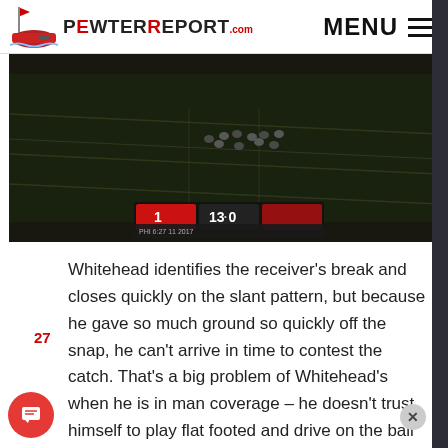PewterReport.com — MENU
[Figure (screenshot): Aerial broadcast screenshot of an NFL football game showing players on the field with a scoreboard overlay showing 13-0 and game clock information.]
Whitehead identifies the receiver's break and closes quickly on the slant pattern, but because he gave so much ground so quickly off the snap, he can't arrive in time to contest the catch. That's a big problem of Whitehead's when he is in man coverage – he doesn't trust himself to play flat footed and drive on the ball without giving some more cushion in case